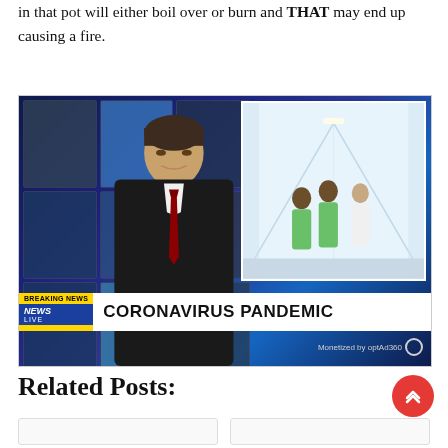in that pot will either boil over or burn and THAT may end up causing a fire.
[Figure (photo): TV news broadcast showing a male anchor in a dark suit with red tie, with a hospital corridor inset showing medical staff in scrubs. Lower-third graphic reads 'BREAKING NEWS / NEWS LIVE / CORONAVIRUS PANDEMIC'. Bottom right watermark reads 'Monetized by optAd360'.]
Related Posts: